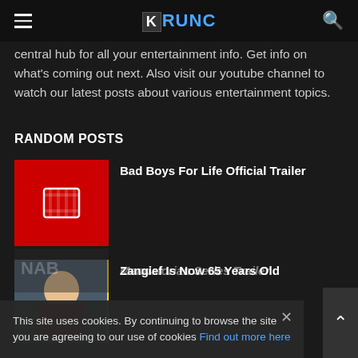KRUNC
central hub for all your entertainment info. Get info on what's coming out next. Also visit our youtube channel to watch our latest posts about various entertainment topics.
RANDOM POSTS
Bad Boys For Life Official Trailer
Zangief Is Now 65 Years Old
Mandalorian Series Trailer
This site uses cookies. By continuing to browse the site you are agreeing to our use of cookies Find out more here